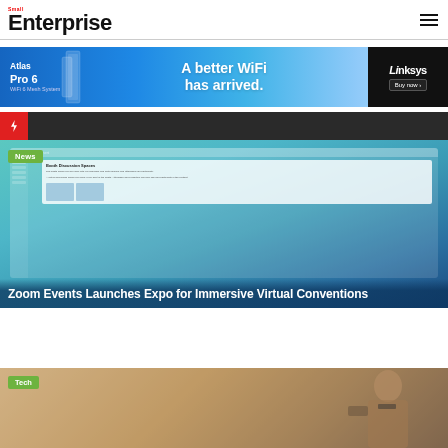Small Enterprise
[Figure (photo): Linksys Atlas Pro 6 WiFi 6 Mesh System advertisement banner with text 'A better WiFi has arrived.' and Buy now button]
[Figure (screenshot): Zoom Events interface showing Booth Discussion Spaces feature with News badge overlay]
Zoom Events Launches Expo for Immersive Virtual Conventions
[Figure (photo): Person wearing glasses with Tech badge, partial view, second article preview]